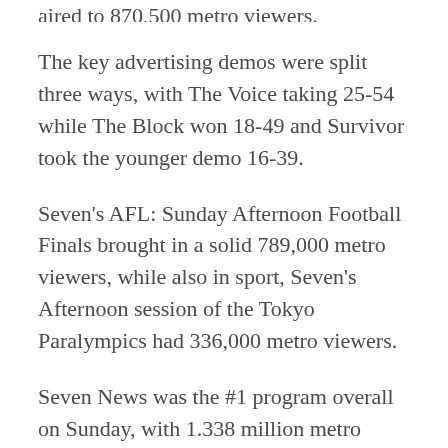aired to 870,500 metro viewers.
The key advertising demos were split three ways, with The Voice taking 25-54 while The Block won 18-49 and Survivor took the younger demo 16-39.
Seven's AFL: Sunday Afternoon Football Finals brought in a solid 789,000 metro viewers, while also in sport, Seven's Afternoon session of the Tokyo Paralympics had 336,000 metro viewers.
Seven News was the #1 program overall on Sunday, with 1.338 million metro viewers, while Nine News brought in 1.132 million metro viewers.
Seven had a dominant 37.6% network share on Sunday, ahead of Nine with 26.2%, Ten with 16.45% and ABC on 13.3%. 7Mate was the top